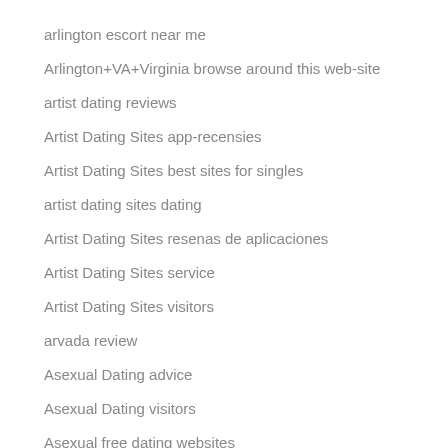arlington escort near me
Arlington+VA+Virginia browse around this web-site
artist dating reviews
Artist Dating Sites app-recensies
Artist Dating Sites best sites for singles
artist dating sites dating
Artist Dating Sites resenas de aplicaciones
Artist Dating Sites service
Artist Dating Sites visitors
arvada review
Asexual Dating advice
Asexual Dating visitors
Asexual free dating websites
ashley madison de review
Ashley Madison visitors